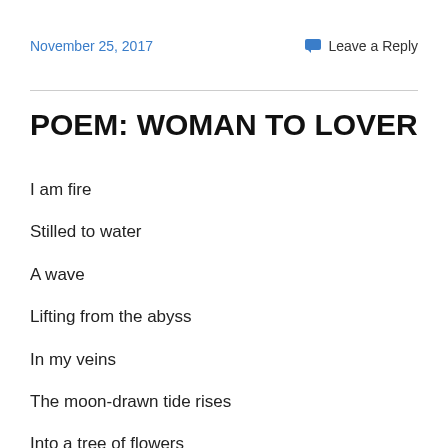November 25, 2017    Leave a Reply
POEM: WOMAN TO LOVER
I am fire
Stilled to water
A wave
Lifting from the abyss
In my veins
The moon-drawn tide rises
Into a tree of flowers